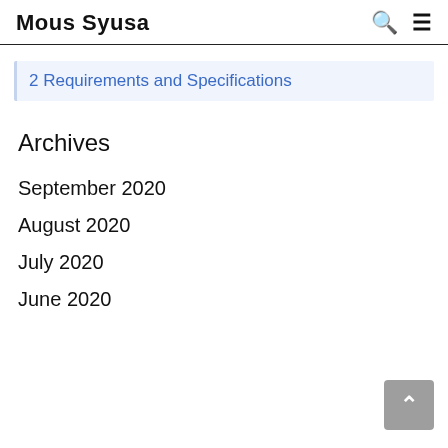Mous Syusa
2 Requirements and Specifications
Archives
September 2020
August 2020
July 2020
June 2020